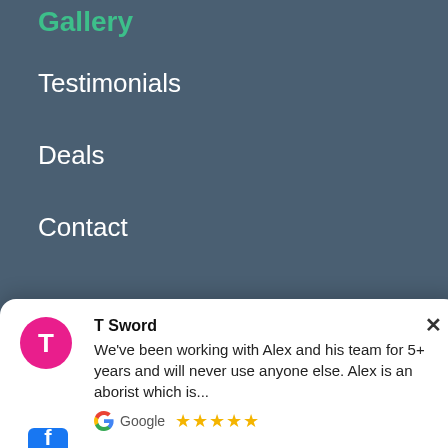Gallery
Testimonials
Deals
Contact
We Accept
T Sword
We've been working with Alex and his team for 5+ years and will never use anyone else. Alex is an aborist which is...
Google ★★★★★